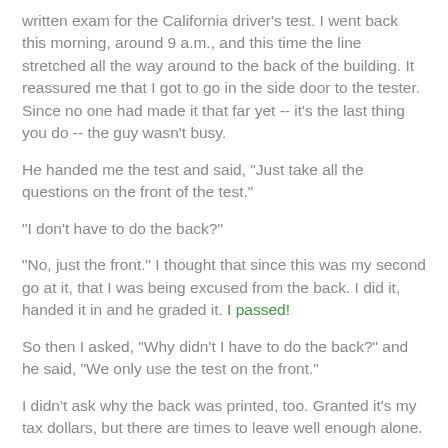written exam for the California driver's test. I went back this morning, around 9 a.m., and this time the line stretched all the way around to the back of the building. It reassured me that I got to go in the side door to the tester. Since no one had made it that far yet -- it's the last thing you do -- the guy wasn't busy.
He handed me the test and said, "Just take all the questions on the front of the test."
"I don't have to do the back?"
"No, just the front." I thought that since this was my second go at it, that I was being excused from the back. I did it, handed it in and he graded it. I passed!
So then I asked, "Why didn't I have to do the back?" and he said, "We only use the test on the front."
I didn't ask why the back was printed, too. Granted it's my tax dollars, but there are times to leave well enough alone.